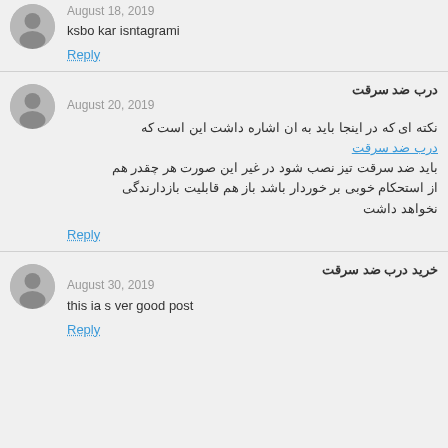August 18, 2019
ksbo kar isntagrami
Reply
درب ضد سرقت
August 20, 2019
نکته ای که در اینجا باید به ان اشاره داشت این است که درب ضد سرقت باید ضد سرقت تیز نصب شود در غیر این صورت هر چقدر هم از استحکام خوبی بر خوردار باشد باز هم قابلیت بازدارندگی نخواهد داشت
Reply
خرید درب ضد سرقت
August 30, 2019
this ia s ver good post
Reply